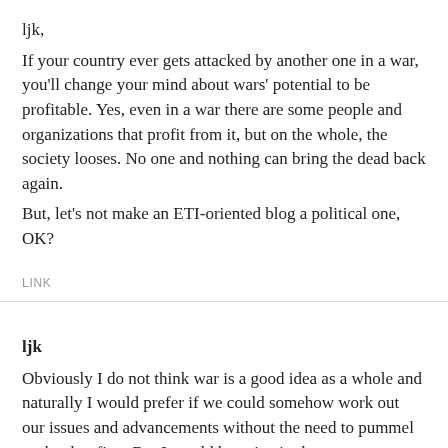ljk,
If your country ever gets attacked by another one in a war, you'll change your mind about wars' potential to be profitable. Yes, even in a war there are some people and organizations that profit from it, but on the whole, the society looses. No one and nothing can bring the dead back again.
But, let's not make an ETI-oriented blog a political one, OK?
LINK
ljk
Obviously I do not think war is a good idea as a whole and naturally I would prefer if we could somehow work out our issues and advancements without the need to pummel each other first. But I would be neive in the extreme not to note